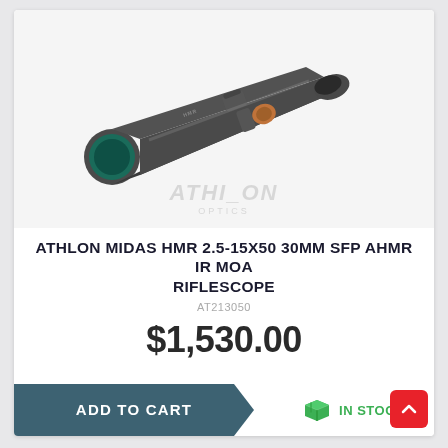[Figure (photo): Athlon Midas HMR riflescope shown diagonally, black finish with teal objective lens coating, adjustment turrets visible, on a white/light gray background. Athlon Optics watermark in center.]
ATHLON MIDAS HMR 2.5-15X50 30MM SFP AHMR IR MOA RIFLESCOPE
AT213050
$1,530.00
ADD TO CART
IN STOCK